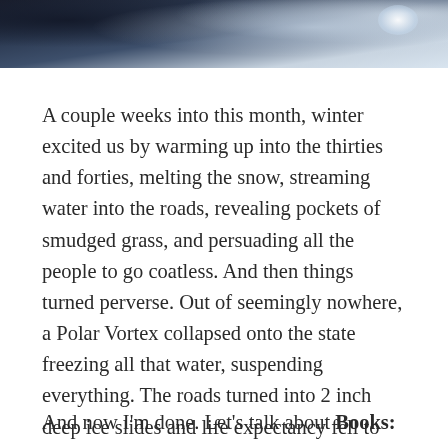[Figure (photo): Winter scene photograph with dark sky and snow/ice elements, cropped at top of page]
A couple weeks into this month, winter excited us by warming up into the thirties and forties, melting the snow, streaming water into the roads, revealing pockets of smudged grass, and persuading all the people to go coatless. And then things turned perverse. Out of seemingly nowhere, a Polar Vortex collapsed onto the state freezing all that water, suspending everything. The roads turned into 2 inch deep ice slides and life expectancy fell to about ten minutes. Nothing has changed!
And now I'm done. Let's talk about Books: